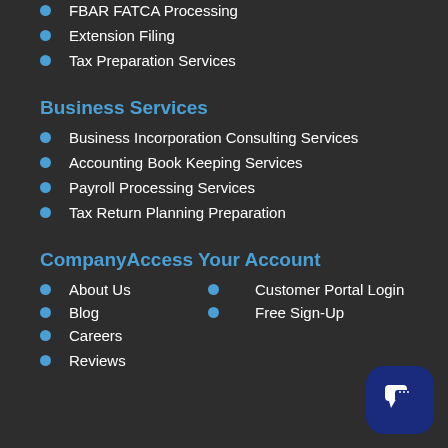FBAR FATCA Processing
Extension Filing
Tax Preparation Services
Business Services
Business Incorporation Consulting Services
Accounting Book Keeping Services
Payroll Processing Services
Tax Return Planning Preparation
CompanyAccess Your Account
About Us
Customer Portal Login
Blog
Free Sign-Up
Careers
Reviews